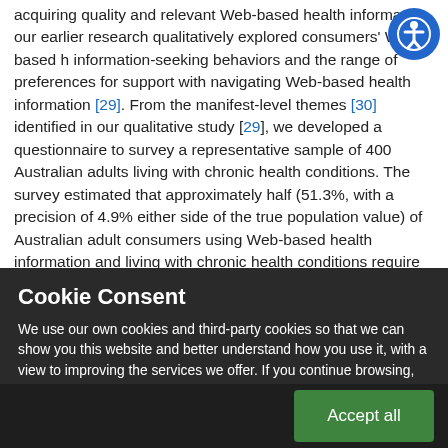acquiring quality and relevant Web-based health information, our earlier research qualitatively explored consumers' Web-based health information-seeking behaviors and the range of preferences for support with navigating Web-based health information [29]. From the manifest-level themes [30] identified in our qualitative study [29], we developed a questionnaire to survey a representative sample of 400 Australian adults living with chronic health conditions. The survey estimated that approximately half (51.3%, with a precision of 4.9% either side of the true population value) of Australian adult consumers using Web-based health information and living with chronic health conditions require support with
Cookie Consent
We use our own cookies and third-party cookies so that we can show you this website and better understand how you use it, with a view to improving the services we offer. If you continue browsing, we consider that you have accepted the cookies.